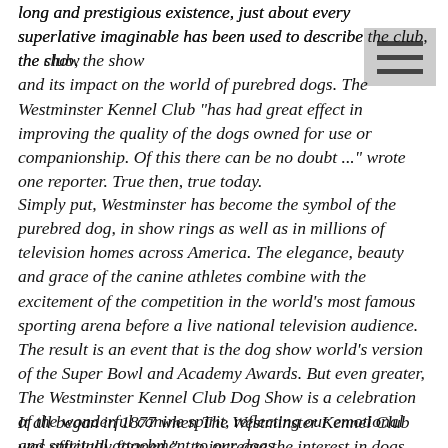long and prestigious existence, just about every superlative imaginable has been used to describe the club, the show and its impact on the world of purebred dogs. The Westminster Kennel Club "has had great effect in improving the quality of the dogs owned for use or companionship. Of this there can be no doubt ..." wrote one reporter. True then, true today.
Simply put, Westminster has become the symbol of the purebred dog, in show rings as well as in millions of television homes across America. The elegance, beauty and grace of the canine athletes combine with the excitement of the competition in the world's most famous sporting arena before a live national television audience. The result is an event that is the dog show world's version of the Super Bowl and Academy Awards. But even greater, The Westminster Kennel Club Dog Show is a celebration of the wonderful canine spirit, reflecting our emotional and spiritual attachment to our dogs.
It all began in 1877 when The Westminster Kennel Club was officially formed "...to increase the interest in dogs,